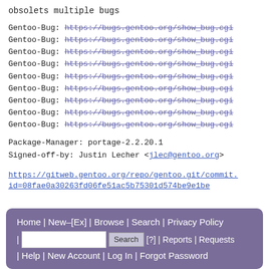obsolets multiple bugs
Gentoo-Bug: https://bugs.gentoo.org/show_bug.cgi (strikethrough link)
Gentoo-Bug: https://bugs.gentoo.org/show_bug.cgi (strikethrough link)
Gentoo-Bug: https://bugs.gentoo.org/show_bug.cgi (strikethrough link)
Gentoo-Bug: https://bugs.gentoo.org/show_bug.cgi (strikethrough link)
Gentoo-Bug: https://bugs.gentoo.org/show_bug.cgi (strikethrough link)
Gentoo-Bug: https://bugs.gentoo.org/show_bug.cgi (strikethrough link)
Gentoo-Bug: https://bugs.gentoo.org/show_bug.cgi (strikethrough link)
Gentoo-Bug: https://bugs.gentoo.org/show_bug.cgi (strikethrough link)
Gentoo-Bug: https://bugs.gentoo.org/show_bug.cgi (strikethrough link)
Package-Manager: portage-2.2.20.1
Signed-off-by: Justin Lecher <jlec@gentoo.org>
https://gitweb.gentoo.org/repo/gentoo.git/commit.
id=08fae0a30263fd06fe51ac5b75301d574be9e1be
t For Printing - XML - Clone This Bug - Clone In The Same Product - Top of page
Home | New–[Ex] | Browse | Search | Privacy Policy | [search box] Search [?] | Reports | Requests | Help | New Account | Log In | Forgot Password